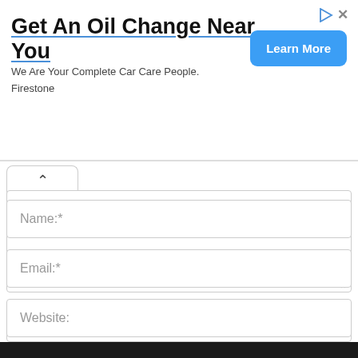[Figure (screenshot): Advertisement banner: 'Get An Oil Change Near You' with subtitle 'We Are Your Complete Car Care People. Firestone' and a blue 'Learn More' button. Ad attribution icons in top right.]
Name:*
Email:*
Website:
Save my name, email, and website in this browser for the next time I comment.